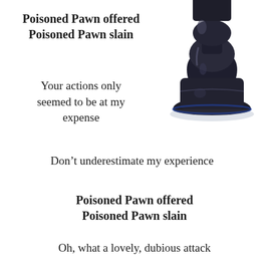Poisoned Pawn offered
Poisoned Pawn slain
[Figure (photo): A black chess piece (queen or rook) photographed on a white background, partially cut off at the top right of the image.]
Your actions only seemed to be at my expense
Don't underestimate my experience
Poisoned Pawn offered
Poisoned Pawn slain
Oh, what a lovely, dubious attack